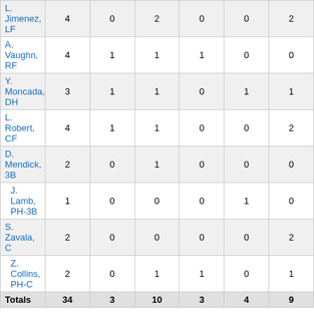| Player | AB | R | H | RBI | BB | SO |
| --- | --- | --- | --- | --- | --- | --- |
| L. Jimenez, LF | 4 | 0 | 2 | 0 | 0 | 2 |
| A. Vaughn, RF | 4 | 1 | 1 | 1 | 0 | 0 |
| Y. Moncada, DH | 3 | 1 | 1 | 0 | 1 | 1 |
| L. Robert, CF | 4 | 1 | 1 | 0 | 0 | 2 |
| D. Mendick, 3B | 2 | 0 | 1 | 0 | 0 | 0 |
| J. Lamb, PH-3B | 1 | 0 | 0 | 0 | 1 | 0 |
| S. Zavala, C | 2 | 0 | 0 | 0 | 0 | 2 |
| Z. Collins, PH-C | 2 | 0 | 1 | 1 | 0 | 1 |
| Totals | 34 | 3 | 10 | 3 | 4 | 9 |
2B:
NYY 2, B. Gardner (10), G. Stanton (13). CWS 1, Z. Collins (11).
HR:
NYY 2, L. Voit (5), R. Odor (14). CWS 1, A. Vaughn (14).
HR Detail:
NYY, L. Voit (Inning: 9 , 0 Out, 1 on) off M. Foster, NYY, R. Odor (Inning: 2 , 0 Out, 1 on) off L. Giolito. CWS, A. Vaughn (Inning: 6 , 1 Out, 0 on) off N. Cortes.
Scoring Position:
NYY - 1 for 15.CWS - 2 for 6.
New York Yankees